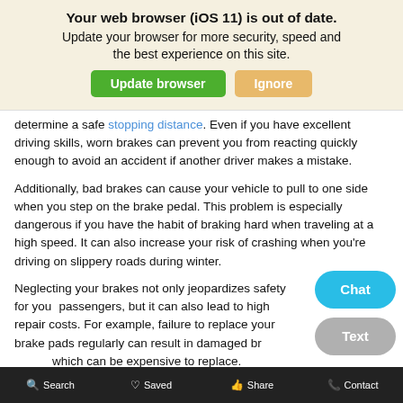[Figure (screenshot): Browser update notification banner with beige background. Title: 'Your web browser (iOS 11) is out of date.' Subtitle: 'Update your browser for more security, speed and the best experience on this site.' Two buttons: green 'Update browser' and orange 'Ignore'.]
determine a safe stopping distance. Even if you have excellent driving skills, worn brakes can prevent you from reacting quickly enough to avoid an accident if another driver makes a mistake.
Additionally, bad brakes can cause your vehicle to pull to one side when you step on the brake pedal. This problem is especially dangerous if you have the habit of braking hard when traveling at a high speed. It can also increase your risk of crashing when you're driving on slippery roads during winter.
Neglecting your brakes not only jeopardizes safety for you and your passengers, but it can also lead to high repair costs. For example, failure to replace your brake pads regularly can result in damaged brake rotors, which can be expensive to replace.
Bringing your car or SUV to a service center for routine brake
Search   Saved   Share   Contact